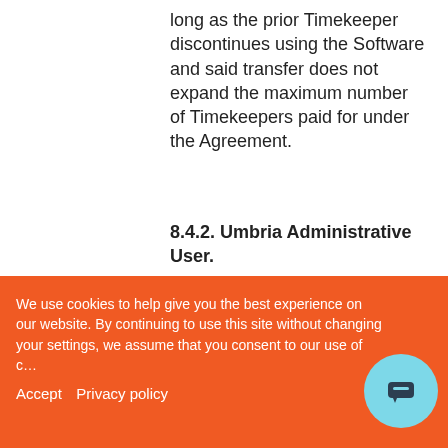long as the prior Timekeeper discontinues using the Software and said transfer does not expand the maximum number of Timekeepers paid for under the Agreement.
8.4.2. Umbria Administrative User.
This is a Client Access License. The Umbria Administrative User has a
We use cookies to help give you the best experience on our website. By continuing to use this site without changing your settings, we assume that you consent to our use of cookies.